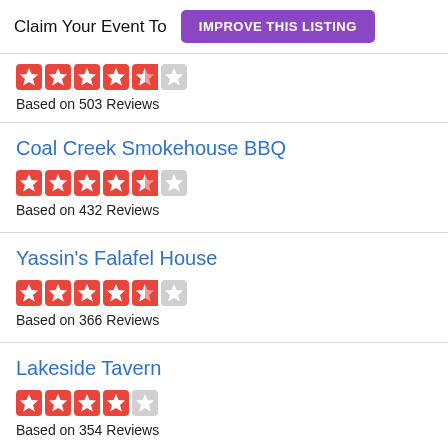Claim Your Event To  IMPROVE THIS LISTING
Based on 503 Reviews
Coal Creek Smokehouse BBQ
Based on 432 Reviews
Yassin's Falafel House
Based on 366 Reviews
Lakeside Tavern
Based on 354 Reviews